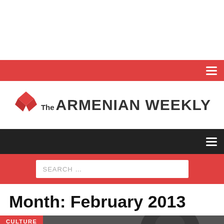[Figure (logo): The Armenian Weekly logo with red diamond/chevron icon and bold dark text]
Month: February 2013
CULTURE